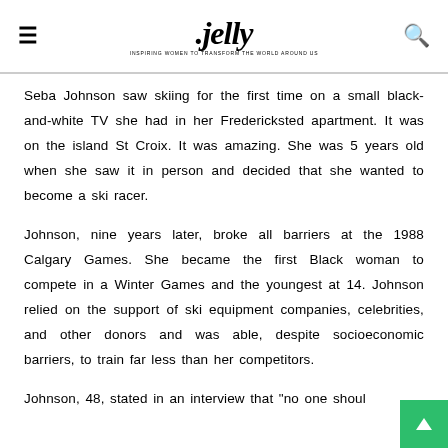.jelly
Seba Johnson saw skiing for the first time on a small black-and-white TV she had in her Fredericksted apartment. It was on the island St Croix. It was amazing. She was 5 years old when she saw it in person and decided that she wanted to become a ski racer.
Johnson, nine years later, broke all barriers at the 1988 Calgary Games. She became the first Black woman to compete in a Winter Games and the youngest at 14. Johnson relied on the support of ski equipment companies, celebrities, and other donors and was able, despite socioeconomic barriers, to train far less than her competitors.
Johnson, 48, stated in an interview that "no one shoul